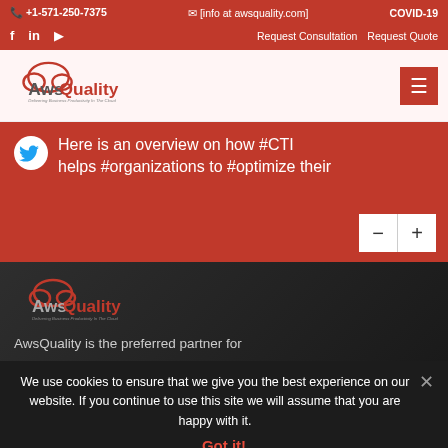+1-571-250-7375  [info at awsquality.com]  COVID-19
f  in  yt  Request Consultation  Request Quote
[Figure (logo): AwsQuality logo - Delivering Business Productivity In The Cloud]
Here is an overview on how #CTI helps #organizations to #optimize their
[Figure (logo): AwsQuality logo dark version - Delivering Business Productivity In The Cloud]
AwsQuality is the preferred partner for
We use cookies to ensure that we give you the best experience on our website. If you continue to use this site we will assume that you are happy with it.
Got it!